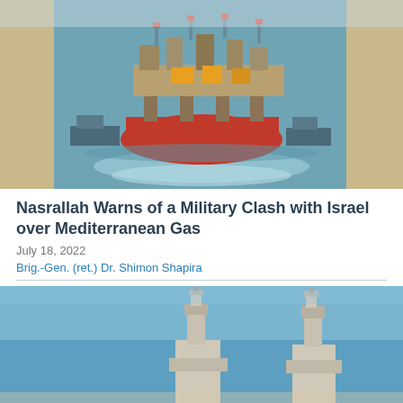[Figure (photo): Aerial view of a large red offshore gas/oil platform being towed through a canal or waterway, with tugboats visible alongside it. The water is blue-green and there are sandy shores visible on the sides.]
Nasrallah Warns of a Military Clash with Israel over Mediterranean Gas
July 18, 2022
Brig.-Gen. (ret.) Dr. Shimon Shapira
[Figure (photo): Partial view of offshore gas infrastructure structures against a blue sky, showing the tops of two industrial structures (possibly gas platforms or rigs) in the lower portion of the image.]